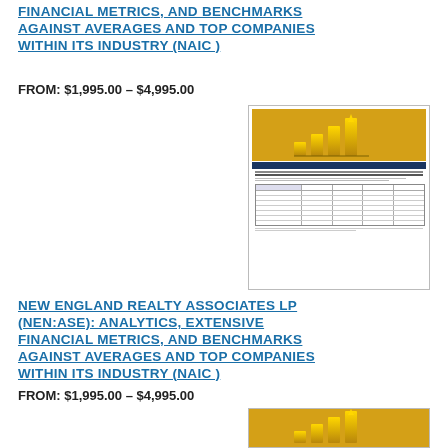FINANCIAL METRICS, AND BENCHMARKS AGAINST AVERAGES AND TOP COMPANIES WITHIN ITS INDUSTRY (NAIC)
FROM: $1,995.00 – $4,995.00
[Figure (illustration): Thumbnail image of a financial report cover page showing gold bar chart graphic and text content with table]
NEW ENGLAND REALTY ASSOCIATES LP (NEN:ASE): ANALYTICS, EXTENSIVE FINANCIAL METRICS, AND BENCHMARKS AGAINST AVERAGES AND TOP COMPANIES WITHIN ITS INDUSTRY (NAIC)
FROM: $1,995.00 – $4,995.00
[Figure (illustration): Thumbnail image of a financial report cover page showing gold bar chart graphic and text content with table]